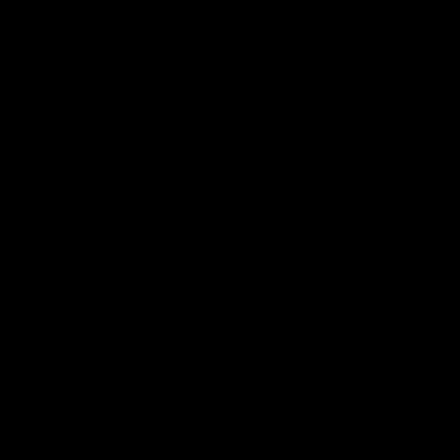| 3274 | 3275 | 3276 | 3277 | 327 |
| 3287 | 3288 | 3289 | 3290 | 329 |
| 3300 | 3301 | 3302 | 3303 | 330 |
| 3313 | 3314 | 3315 | 3316 | 331 |
| 3326 | 3327 | 3328 | 3329 | 333 |
| 3339 | 3340 | 3341 | 3342 | 334 |
| 3352 | 3353 | 3354 | 3355 | 335 |
| 3365 | 3366 | 3367 | 3368 | 336 |
| 3378 | 3379 | 3380 | 3381 | 338 |
| 3391 | 3392 | 3393 | 3394 | 339 |
| 3404 | 3405 | 3406 | 3407 | 340 |
| 3417 | 3418 | 3419 | 3420 | 342 |
| 3430 | 3431 | 3432 | 3433 | 343 |
| 3443 | 3444 | 3445 | 3446 | 344 |
| 3456 | 3457 | 3458 | 3459 | 346 |
| 3469 | 3470 | 3471 | 3472 | 347 |
| 3482 | 3483 | 3484 | 3485 | 348 |
| 3495 | 3496 | 3497 | 3498 | 349 |
| 3508 | 3509 | 3510 | 3511 | 351 |
| 3521 | 3522 | 3523 | 3524 | 352 |
| 3534 | 3535 | 3536 | 3537 | 353 |
| 3547 | 3548 | 3549 | 3550 | 355 |
| 3560 | 3561 | 3562 | 3563 | 356 |
| 3573 | 3574 | 3575 | 3576 | 357 |
| 3586 | 3587 | 3588 | 3589 | 359 |